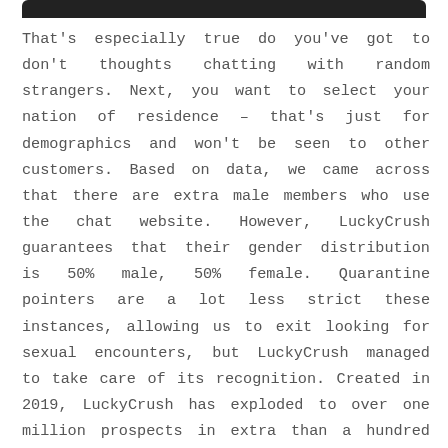[Figure (other): Dark rounded rectangle bar at top of page, representing a UI element or header bar]
That's especially true do you've got to don't thoughts chatting with random strangers. Next, you want to select your nation of residence – that's just for demographics and won't be seen to other customers. Based on data, we came across that there are extra male members who use the chat website. However, LuckyCrush guarantees that their gender distribution is 50% male, 50% female. Quarantine pointers are a lot less strict these instances, allowing us to exit looking for sexual encounters, but LuckyCrush managed to take care of its recognition. Created in 2019, LuckyCrush has exploded to over one million prospects in extra than a hundred nations. On LuckyCrush, guys are matched with random ladies, and girls are